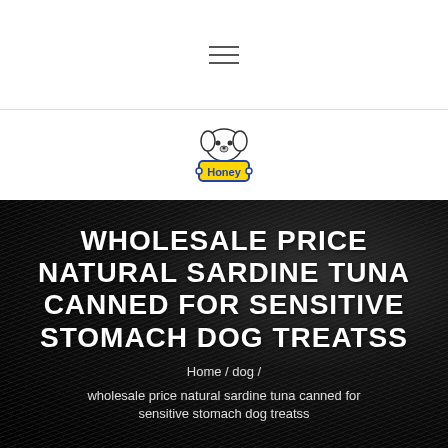Navigation menu icon (hamburger)
[Figure (logo): Honey brand logo featuring a cartoon dog face above a yellow rectangular tag with 'Honey' text in blue, outlined in dark blue/purple]
WHOLESALE PRICE NATURAL SARDINE TUNA CANNED FOR SENSITIVE STOMACH DOG TREATSS
Home / dog /
wholesale price natural sardine tuna canned for sensitive stomach dog treatss